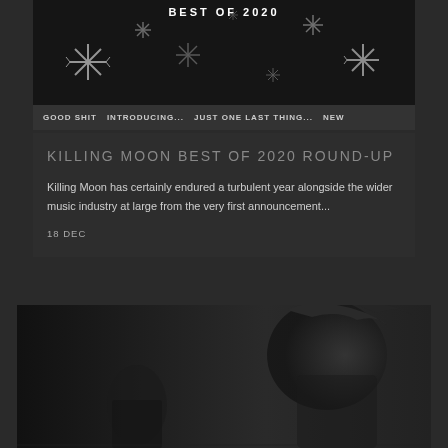[Figure (photo): Dark snowflake background image with 'BEST OF 2020' text at top]
GOOD SHIT   INTRODUCING...   JUST ONE LAST THING...   NEW
KILLING MOON BEST OF 2020 ROUND-UP
Killing Moon has certainly endured a turbulent year alongside the wider music industry at large from the very first announcement...
18 DEC
[Figure (photo): Dark atmospheric photo showing figures/statues]